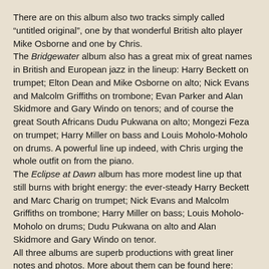There are on this album also two tracks simply called “untitled original”, one by that wonderful British alto player Mike Osborne and one by Chris.
The Bridgewater album also has a great mix of great names in British and European jazz in the lineup: Harry Beckett on trumpet; Elton Dean and Mike Osborne on alto; Nick Evans and Malcolm Griffiths on trombone; Evan Parker and Alan Skidmore and Gary Windo on tenors; and of course the great South Africans Dudu Pukwana on alto; Mongezi Feza on trumpet; Harry Miller on bass and Louis Moholo-Moholo on drums. A powerful line up indeed, with Chris urging the whole outfit on from the piano.
The Eclipse at Dawn album has more modest line up that still burns with bright energy: the ever-steady Harry Beckett and Marc Charig on trumpet; Nick Evans and Malcolm Griffiths on trombone; Harry Miller on bass; Louis Moholo-Moholo on drums; Dudu Pukwana on alto and Alan Skidmore and Gary Windo on tenor.
All three albums are superb productions with great liner notes and photos. More about them can be found here: http://www.cuneiformrecords.com/bandshtml/brotherhood.html